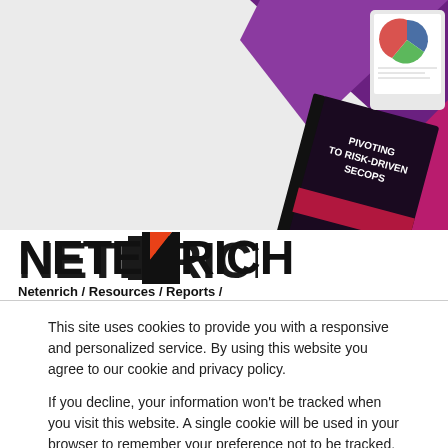[Figure (illustration): Netenrich website screenshot showing a book/report titled 'Pivoting to Risk-Driven SecOps' on a purple and magenta geometric background with a tablet showing charts.]
[Figure (logo): Netenrich logo with bold black text and a red arrow-shaped N letter]
Netenrich / Resources / Reports /
This site uses cookies to provide you with a responsive and personalized service. By using this website you agree to our cookie and privacy policy.

If you decline, your information won't be tracked when you visit this website. A single cookie will be used in your browser to remember your preference not to be tracked.
Accept
Decline